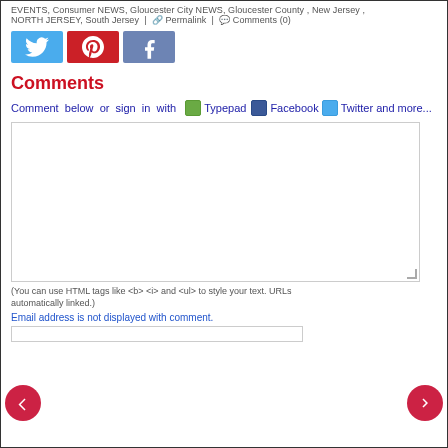EVENTS, Consumer NEWS, Gloucester City NEWS, Gloucester County , New Jersey , NORTH JERSEY, South Jersey | Permalink | Comments (0)
[Figure (other): Social share buttons: Twitter (blue), Pinterest (red), Facebook (dark blue/grey)]
Comments
Comment below or sign in with Typepad Facebook Twitter and more...
[Figure (other): Comment text area input box]
(You can use HTML tags like <b> <i> and <ul> to style your text. URLs automatically linked.)
Email address is not displayed with comment.
[Figure (other): Navigation arrows: left arrow (back) and right arrow (forward) in red circles]